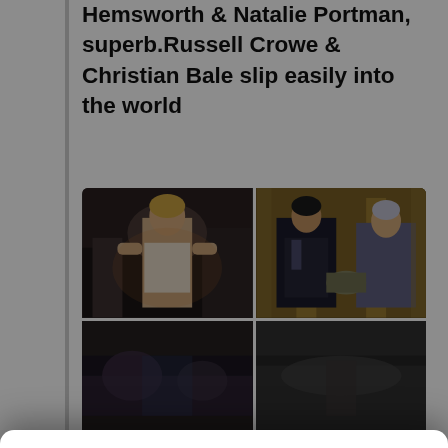Hemsworth & Natalie Portman, superb.Russell Crowe & Christian Bale slip easily into the world
[Figure (photo): Four movie stills in a 2x2 grid showing scenes from Thor: Love and Thunder featuring characters in action/dramatic poses]
Manage Cookie Consent
We USA Technologies like cookies to store and/or access device information. Consenting to these technologies will allow us to process data such as browsing behavior or unique IDs on this site. Not consenting or withdrawing consent, may adversely affect certain features and functions.
Accept
Cookie Policy